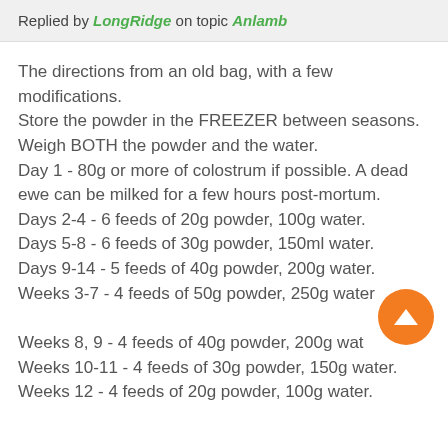Replied by LongRidge on topic Anlamb
The directions from an old bag, with a few modifications.
Store the powder in the FREEZER between seasons.
Weigh BOTH the powder and the water.
Day 1 - 80g or more of colostrum if possible. A dead ewe can be milked for a few hours post-mortum.
Days 2-4 - 6 feeds of 20g powder, 100g water.
Days 5-8 - 6 feeds of 30g powder, 150ml water.
Days 9-14 - 5 feeds of 40g powder, 200g water.
Weeks 3-7 - 4 feeds of 50g powder, 250g water.
Weeks 8, 9 - 4 feeds of 40g powder, 200g water.
Weeks 10-11 - 4 feeds of 30g powder, 150g water.
Weeks 12 - 4 feeds of 20g powder, 100g water.